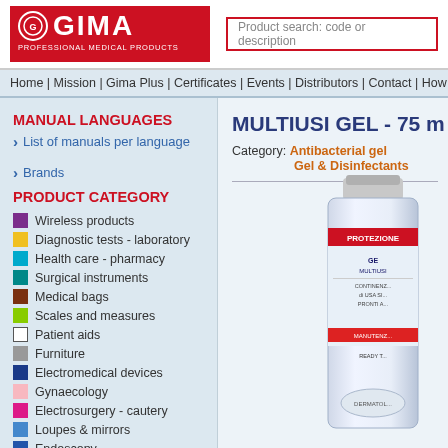[Figure (logo): GIMA Professional Medical Products logo with red background and white text]
Product search: code or description
Home | Mission | Gima Plus | Certificates | Events | Distributors | Contact | How to
MANUAL LANGUAGES
List of manuals per language
Brands
PRODUCT CATEGORY
Wireless products
Diagnostic tests - laboratory
Health care - pharmacy
Surgical instruments
Medical bags
Scales and measures
Patient aids
Furniture
Electromedical devices
Gynaecology
Electrosurgery - cautery
Loupes & mirrors
Endoscopy
MULTIUSI GEL - 75 ml
Category: Antibacterial gel Gel & Disinfectants
[Figure (photo): Product photo of MULTIUSI GEL antibacterial gel tube]